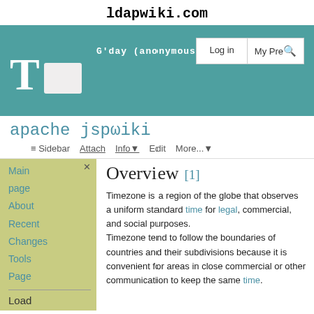ldapwiki.com
[Figure (screenshot): Website banner with teal/green background showing 'G'day (anonymous guest)' greeting text, a large white T letter, a white rectangle box, and two buttons 'Log in' and 'My Pre' with a search icon]
apache jspωiki
≡ Sidebar   Attach   Info▾   Edit   More...▾
Main page
About
Recent Changes
Tools
Page
Overview [1]
Timezone is a region of the globe that observes a uniform standard time for legal, commercial, and social purposes. Timezone tend to follow the boundaries of countries and their subdivisions because it is convenient for areas in close commercial or other communication to keep the same time.
Load